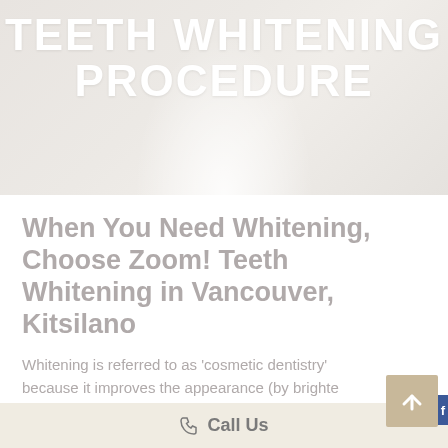TEETH WHITENING PROCEDURE
When You Need Whitening, Choose Zoom! Teeth Whitening in Vancouver, Kitsilano
Whitening is referred to as 'cosmetic dentistry' because it improves the appearance (by brighte
Call Us